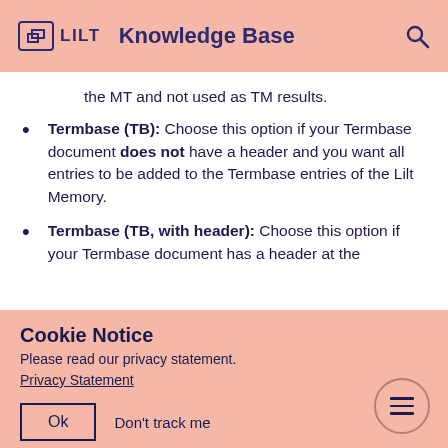LILT  Knowledge Base
the MT and not used as TM results.
Termbase (TB): Choose this option if your Termbase document does not have a header and you want all entries to be added to the Termbase entries of the Lilt Memory.
Termbase (TB, with header): Choose this option if your Termbase document has a header at the
Cookie Notice
Please read our privacy statement.
Privacy Statement
Ok    Don't track me